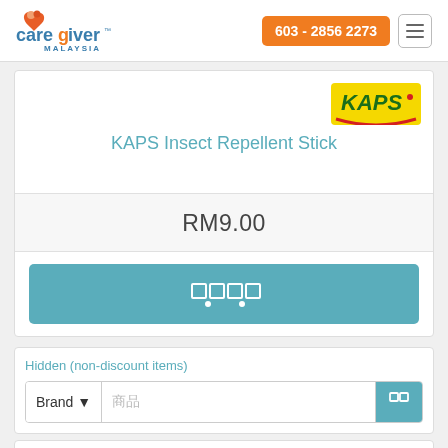[Figure (logo): Caregiver Malaysia logo with orange and red heart icon]
603 - 2856 2273
[Figure (logo): KAPS brand logo on yellow background with red arc]
KAPS Insect Repellent Stick
RM9.00
[Figure (other): Teal add-to-cart button with shopping cart icon (garbled characters)]
Hidden (non-discount items)
Brand ↕
商品